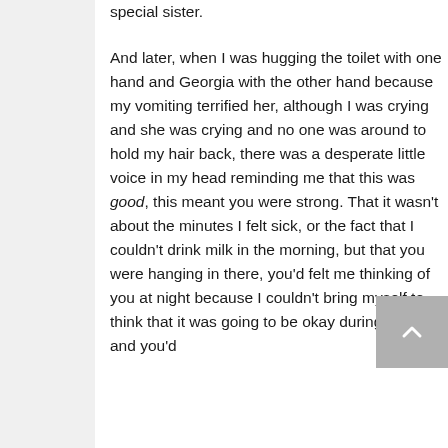special sister.

And later, when I was hugging the toilet with one hand and Georgia with the other hand because my vomiting terrified her, although I was crying and she was crying and no one was around to hold my hair back, there was a desperate little voice in my head reminding me that this was good, this meant you were strong. That it wasn't about the minutes I felt sick, or the fact that I couldn't drink milk in the morning, but that you were hanging in there, you'd felt me thinking of you at night because I couldn't bring myself to think that it was going to be okay during the day, and you'd